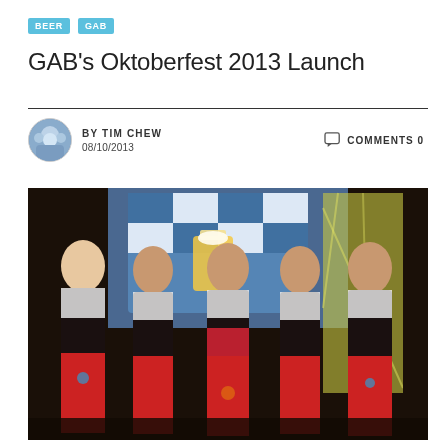BEER  GAB
GAB's Oktoberfest 2013 Launch
BY TIM CHEW  08/10/2013  COMMENTS 0
[Figure (photo): Five women dressed in traditional German Dirndl costumes (black dresses with red skirts and white blouses) posing together at the GAB Oktoberfest 2013 launch event, with an Oktoberfest banner and decorations in the background.]